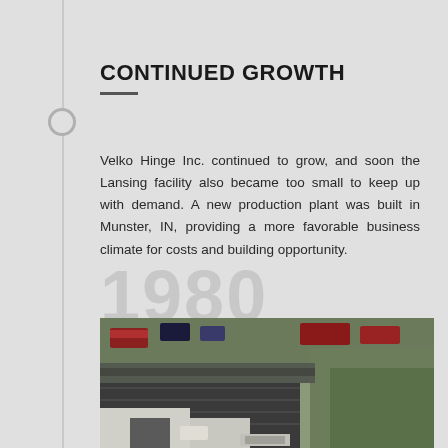CONTINUED GROWTH
Velko Hinge Inc. continued to grow, and soon the Lansing facility also became too small to keep up with demand. A new production plant was built in Munster, IN, providing a more favorable business climate for costs and building opportunity.
1980
[Figure (photo): Aerial photograph of the Munster, IN production plant facility showing industrial buildings with dark roofs, parking areas with trucks and vehicles, and surrounding landscape.]